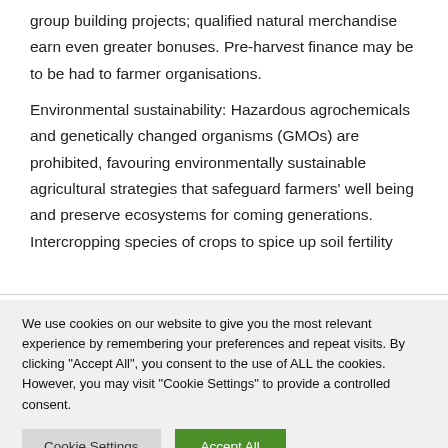group building projects; qualified natural merchandise earn even greater bonuses. Pre-harvest finance may be to be had to farmer organisations.
Environmental sustainability: Hazardous agrochemicals and genetically changed organisms (GMOs) are prohibited, favouring environmentally sustainable agricultural strategies that safeguard farmers' well being and preserve ecosystems for coming generations. Intercropping species of crops to spice up soil fertility
We use cookies on our website to give you the most relevant experience by remembering your preferences and repeat visits. By clicking "Accept All", you consent to the use of ALL the cookies. However, you may visit "Cookie Settings" to provide a controlled consent.